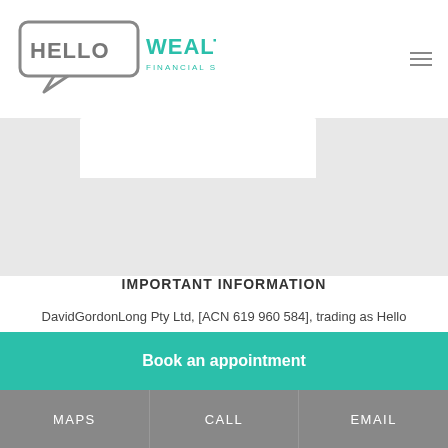[Figure (logo): Hello Wealth Financial Strategies logo with speech bubble icon]
IMPORTANT INFORMATION
DavidGordonLong Pty Ltd, [ACN 619 960 584], trading as Hello Wealth, is a Corporate Authorised Representative N: 1261139 of GPS Wealth Ltd ABN 17 005 482 726 AFSL 254 544.
Financial Adviser and Director, Noni Crawford is an Authorised Representative N. 340187 of Hello Wealth.
Book an appointment
MAPS   CALL   EMAIL